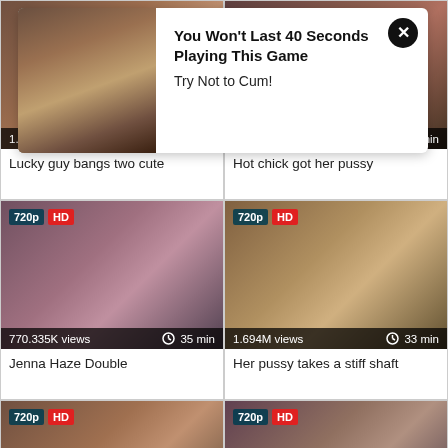[Figure (screenshot): Video thumbnail grid of adult content website with ad overlay. Top row: two video cards (1.696M views/45 min - 'Lucky guy bangs two cute', 1.461M views/20 min - 'Hot chick got her pussy'). Middle row: two 720p HD video cards (770.335K views/35 min - 'Jenna Haze Double', 1.694M views/33 min - 'Her pussy takes a stiff shaft'). Bottom row: two 720p HD video cards (1.637M views/60 min, 1.297M views/45 min). Ad overlay: 'You Won't Last 40 Seconds Playing This Game / Try Not to Cum!']